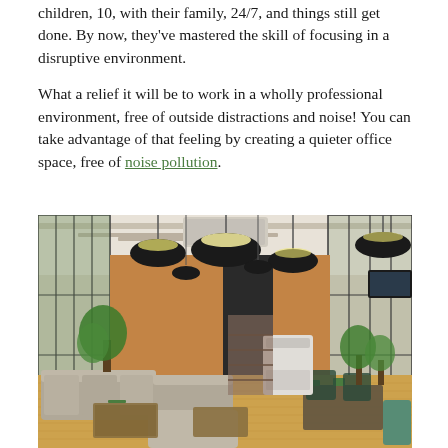children, 10, with their family, 24/7, and things still get done. By now, they've mastered the skill of focusing in a disruptive environment.
What a relief it will be to work in a wholly professional environment, free of outside distractions and noise! You can take advantage of that feeling by creating a quieter office space, free of noise pollution.
[Figure (photo): Interior photograph of a modern co-working office space with pendant lights, floor-to-ceiling glass windows, grey sofas, wooden tables, green plants, and a light hardwood floor.]